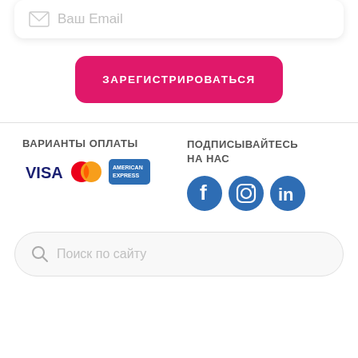[Figure (screenshot): Email input field with envelope icon and placeholder text 'Ваш Email']
ЗАРЕГИСТРИРОВАТЬСЯ
ВАРИАНТЫ ОПЛАТЫ
[Figure (logo): VISA logo]
[Figure (logo): Mastercard logo]
[Figure (logo): American Express logo]
ПОДПИСЫВАЙТЕСЬ НА НАС
[Figure (logo): Facebook icon]
[Figure (logo): Instagram icon]
[Figure (logo): LinkedIn icon]
[Figure (screenshot): Search bar with magnifier icon and placeholder 'Поиск по сайту']